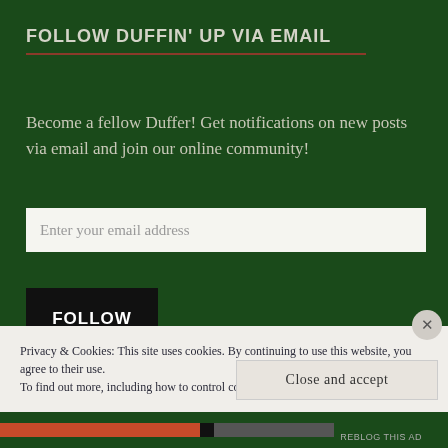FOLLOW DUFFIN' UP VIA EMAIL
Become a fellow Duffer! Get notifications on new posts via email and join our online community!
Enter your email address
FOLLOW
Join 239 other followers
Privacy & Cookies: This site uses cookies. By continuing to use this website, you agree to their use. To find out more, including how to control cookies, see here: Cookie Policy
Close and accept